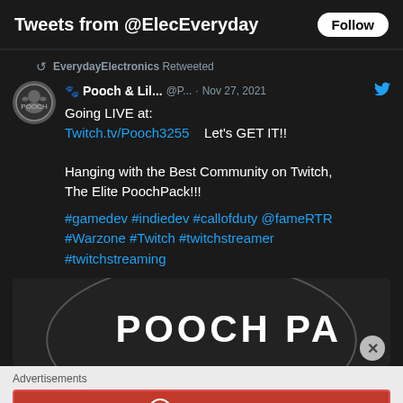Tweets from @ElecEveryday
EverydayElectronics Retweeted
🐾 Pooch & Lil... @P... · Nov 27, 2021
Going LIVE at:
Twitch.tv/Pooch3255    Let's GET IT!!

Hanging with the Best Community on Twitch, The Elite PoochPack!!!
#gamedev #indiedev #callofduty @fameRTR #Warzone #Twitch #twitchstreamer #twitchstreaming
[Figure (photo): Partial image of a circular logo/patch reading 'POOCH PA' on dark textured background]
Advertisements
[Figure (other): Longreads advertisement banner in red: 'The best stories on the web — ours, and everyone else's.']